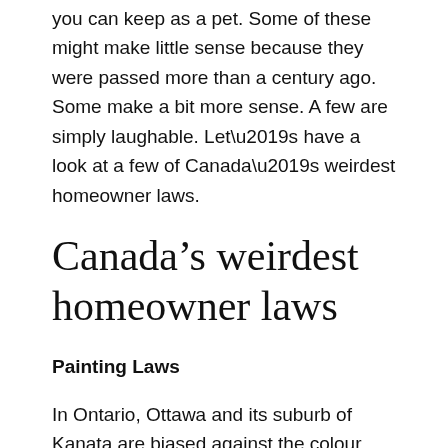you can keep as a pet. Some of these might make little sense because they were passed more than a century ago. Some make a bit more sense. A few are simply laughable. Let’s have a look at a few of Canada’s weirdest homeowner laws.
Canada’s weirdest homeowner laws
Painting Laws
In Ontario, Ottawa and its suburb of Kanata are biased against the colour purple since it is legal to paint your house or garage door in any other colour. But if you paint them purple, it is